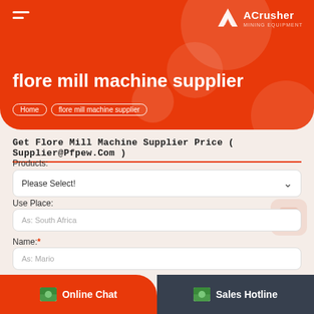[Figure (screenshot): Orange header banner with ACrusher logo and hamburger menu icon]
flore mill machine supplier
Home > flore mill machine supplier
Get Flore Mill Machine Supplier Price ( Supplier@Pfpew.Com )
Products:
Please Select!
Use Place:
As: South Africa
Name:*
As: Mario
Online Chat
Sales Hotline